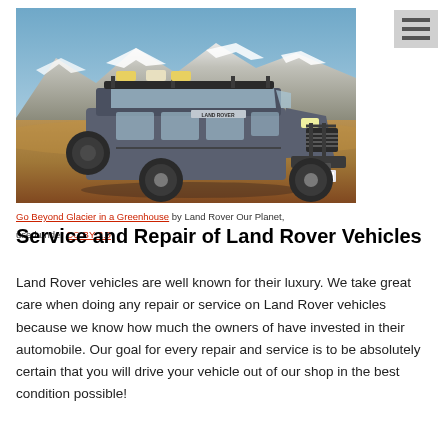[Figure (photo): A Land Rover Defender SUV parked on a dirt/grass field with snow-capped mountains in the background under a blue sky. The vehicle has a roof rack with equipment.]
Go Beyond Glacier in a Greenhouse by Land Rover Our Planet, used under CC BY 2.0
Service and Repair of Land Rover Vehicles
Land Rover vehicles are well known for their luxury. We take great care when doing any repair or service on Land Rover vehicles because we know how much the owners of have invested in their automobile. Our goal for every repair and service is to be absolutely certain that you will drive your vehicle out of our shop in the best condition possible!